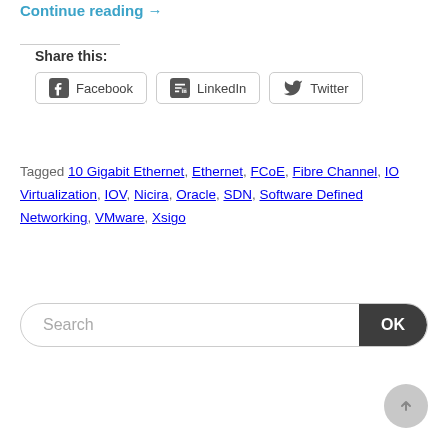Continue reading →
Share this:
Facebook  LinkedIn  Twitter
Tagged 10 Gigabit Ethernet, Ethernet, FCoE, Fibre Channel, IO Virtualization, IOV, Nicira, Oracle, SDN, Software Defined Networking, VMware, Xsigo